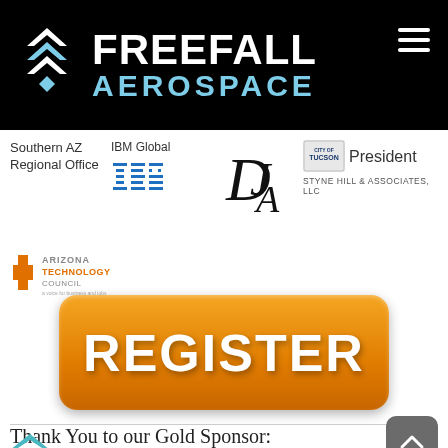[Figure (logo): Freefall Aerospace logo with geometric chevron icon in white/blue on black background, company name in white bold text 'FREEFALL' and blue 'AEROSPACE' below]
Southern AZ Regional Office
IBM Global
[Figure (logo): IBM logo in blue striped letters]
[Figure (logo): DJA monogram logo in black serif]
[Figure (logo): City of Tucson seal/logo]
President
STYNE HILL & ASSOCIATES, LLC
[Figure (logo): Arizona Technology Council logo with orange and grey text]
[Figure (other): Orange REGISTER button with white bold text]
Thank You to our Gold Sponsor:
[Figure (logo): Partial teal/blue chevron logo visible at bottom of page]